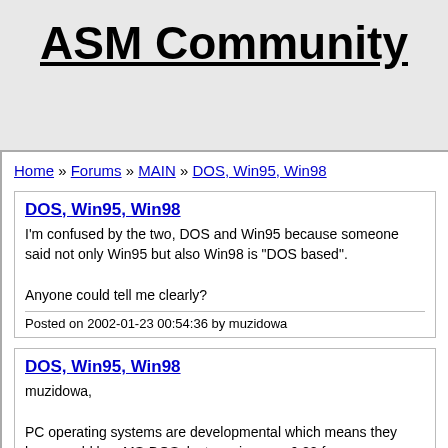ASM Community
Home » Forums » MAIN » DOS, Win95, Win98
DOS, Win95, Win98
I'm confused by the two, DOS and Win95 because someone said not only Win95 but also Win98 is "DOS based".

Anyone could tell me clearly?
Posted on 2002-01-23 00:54:36 by muzidowa
DOS, Win95, Win98
muzidowa,

PC operating systems are developmental which means they have could buy MS-DOS, last version was 6.22 from memory.